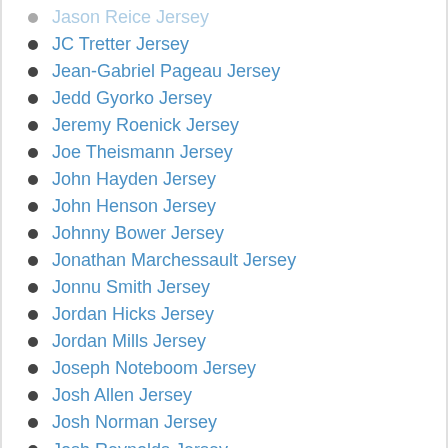JC Tretter Jersey
Jean-Gabriel Pageau Jersey
Jedd Gyorko Jersey
Jeremy Roenick Jersey
Joe Theismann Jersey
John Hayden Jersey
John Henson Jersey
Johnny Bower Jersey
Jonathan Marchessault Jersey
Jonnu Smith Jersey
Jordan Hicks Jersey
Jordan Mills Jersey
Joseph Noteboom Jersey
Josh Allen Jersey
Josh Norman Jersey
Josh Reynolds Jersey
Josh Rosen Jersey
Jourdan Lewis Jersey
Justin Jackson Jersey